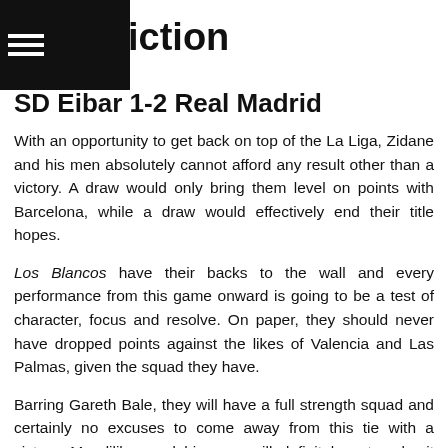iction
SD Eibar 1-2 Real Madrid
With an opportunity to get back on top of the La Liga, Zidane and his men absolutely cannot afford any result other than a victory. A draw would only bring them level on points with Barcelona, while a draw would effectively end their title hopes.
Los Blancos have their backs to the wall and every performance from this game onward is going to be a test of character, focus and resolve. On paper, they should never have dropped points against the likes of Valencia and Las Palmas, given the squad they have.
Barring Gareth Bale, they will have a full strength squad and certainly no excuses to come away from this tie with a victory. Mendilibar and his men will definitely not make it easy on their visitors and will be sure to put up a fight, it remains to be seen whether Madrid are up to the task.